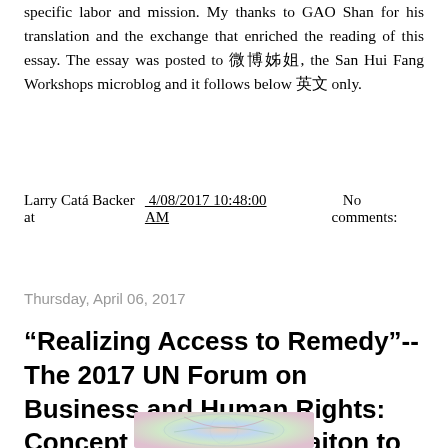specific labor and mission. My thanks to GAO Shan for his translation and the exchange that enriched the reading of this essay. The essay was posted to 微博, the San Hui Fang Workshops microblog and it follows below 英文 only.
Larry Catá Backer at 4/08/2017 10:48:00 AM    No comments:
Share
Thursday, April 06, 2017
“Realizing Access to Remedy”--The 2017 UN Forum on Business and Human Rights: Concept Note and Invitaiton to Submit Proposal
[Figure (photo): Partial view of a colorful circular image, possibly a globe or decorative plate with blue, red and green colors]